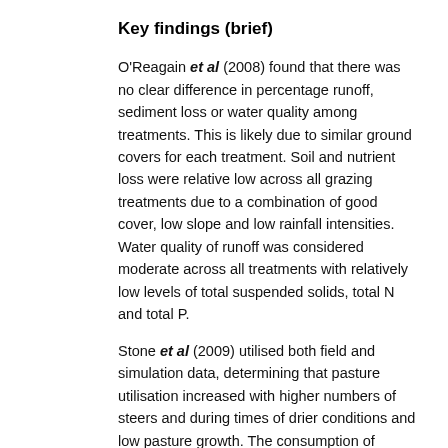Key findings (brief)
O'Reagain et al (2008) found that there was no clear difference in percentage runoff, sediment loss or water quality among treatments. This is likely due to similar ground covers for each treatment. Soil and nutrient loss were relative low across all grazing treatments due to a combination of good cover, low slope and low rainfall intensities. Water quality of runoff was considered moderate across all treatments with relatively low levels of total suspended solids, total N and total P.
Stone et al (2009) utilised both field and simulation data, determining that pasture utilisation increased with higher numbers of steers and during times of drier conditions and low pasture growth. The consumption of standover feed is an issue for pasture sustainability, as it provides a protective groundcover against erosion in early summer